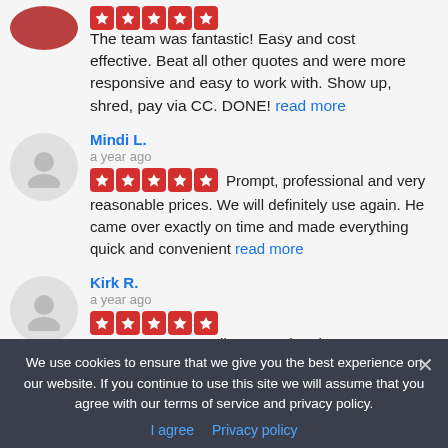The team was fantastic! Easy and cost effective. Beat all other quotes and were more responsive and easy to work with. Show up, shred, pay via CC. DONE! read more
Mindi L.
a year ago
Prompt, professional and very reasonable prices. We will definitely use again. He came over exactly on time and made everything quick and convenient read more
Kirk R.
a year ago
Don was great to talk to over the phone. Chad arrived on time and was very professional and
We use cookies to ensure that we give you the best experience on our website. If you continue to use this site we will assume that you agree with our terms of service and privacy policy.
I agree  Privacy policy